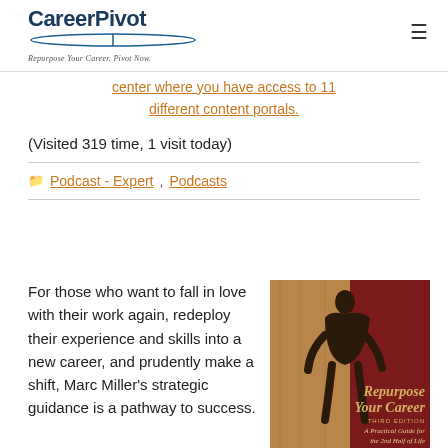CareerPivot — Repurpose Your Career. Pivot Now.
center where you have access to 11 different content portals.
(Visited 319 time, 1 visit today)
Podcast - Expert, Podcasts
For those who want to fall in love with their work again, redeploy their experience and skills into a new career, and prudently make a shift, Marc Miller's strategic guidance is a pathway to success.
[Figure (photo): Book cover of 'Repurpose Your Career: A Practical Guide for the 2nd Half of Life', Third Edition, showing a silhouette and warm tones.]